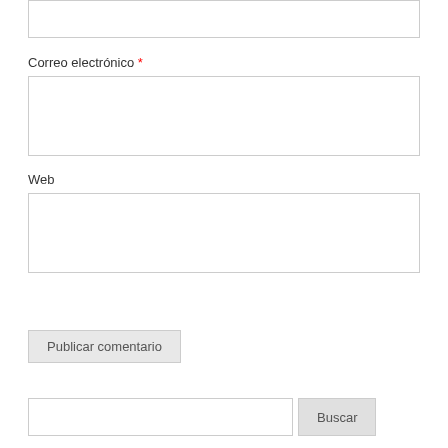[Figure (screenshot): Partial text input box at top of page (cropped)]
Correo electrónico *
[Figure (screenshot): Email input field (empty text box)]
Web
[Figure (screenshot): Web URL input field (empty text box)]
[Figure (screenshot): Publicar comentario button]
[Figure (screenshot): Search input field and Buscar button]